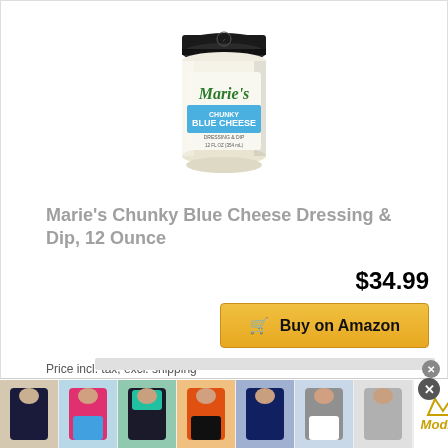[Figure (photo): Jar of Marie's Chunky Blue Cheese Dressing & Dip, 12 fl oz, with black lid and white label]
Marie's Chunky Blue Cheese Dressing & Dip, 12 Ounce
$34.99
Buy on Amazon
Price incl. tax, excl. shipping
[Figure (photo): Advertisement banner showing 7 women's swimsuit/clothing product thumbnails from Modlily]